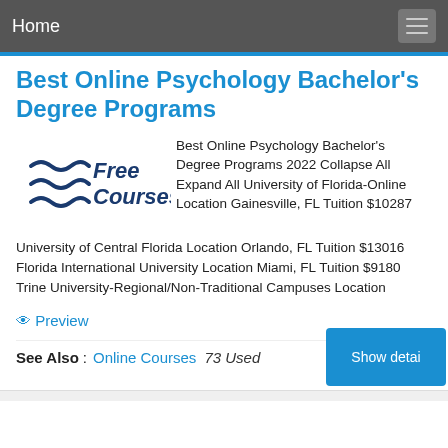Home
Best Online Psychology Bachelor's Degree Programs
[Figure (logo): Free Courses logo with wave lines on the left and 'Free Courses' text in dark blue]
Best Online Psychology Bachelor's Degree Programs 2022 Collapse All Expand All University of Florida-Online Location Gainesville, FL Tuition $10287 University of Central Florida Location Orlando, FL Tuition $13016 Florida International University Location Miami, FL Tuition $9180 Trine University-Regional/Non-Traditional Campuses Location
👁 Preview
See Also: Online Courses  73 Used